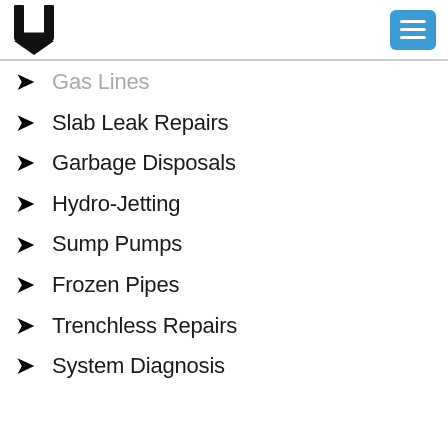U logo + hamburger menu
Gas Lines
Slab Leak Repairs
Garbage Disposals
Hydro-Jetting
Sump Pumps
Frozen Pipes
Trenchless Repairs
System Diagnosis